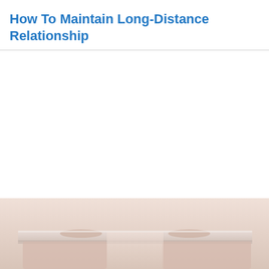How To Maintain Long-Distance Relationship
[Figure (photo): Partial view of two people sitting across from each other at a table, visible from approximately chest level down, with a light beige/cream background. The image is cropped at the bottom of the page.]